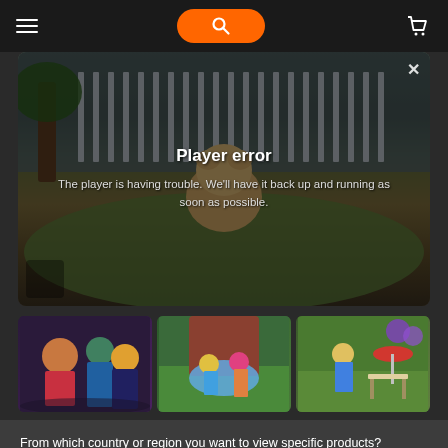[Figure (screenshot): Dark navigation bar with hamburger menu on left, orange search button in center, shopping cart icon on right]
[Figure (screenshot): Video player area showing a game scene with a bear/dog character near a fence, overlaid with 'Player error' message and description text. Three game screenshot thumbnails below.]
Player error
The player is having trouble. We'll have it back up and running as soon as possible.
From which country or region you want to view specific products?
United States
Submit